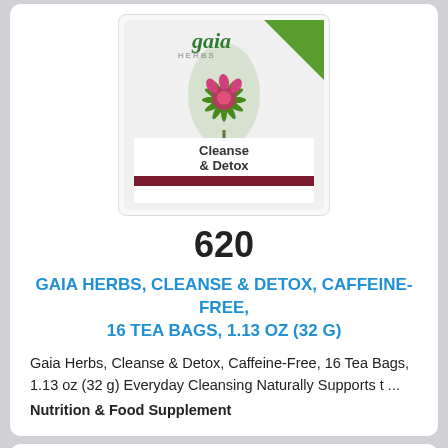[Figure (photo): Gaia Herbs Cleanse & Detox tea box product image]
620
GAIA HERBS, CLEANSE & DETOX, CAFFEINE-FREE, 16 TEA BAGS, 1.13 OZ (32 G)
Gaia Herbs, Cleanse & Detox, Caffeine-Free, 16 Tea Bags, 1.13 oz (32 g) Everyday Cleansing Naturally Supports t ...
Nutrition & Food Supplement
[Figure (logo): habs shop logo with colorful letters h, a, b, s]
habs shop
Views: 832
Metro Manila
★ 5.0 (9)